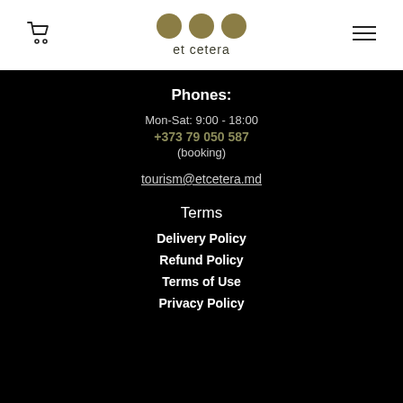[Figure (logo): et cetera logo with three gold circles and text 'et cetera']
Phones:
Mon-Sat: 9:00 - 18:00
+373 79 050 587
(booking)
tourism@etcetera.md
Terms
Delivery Policy
Refund Policy
Terms of Use
Privacy Policy